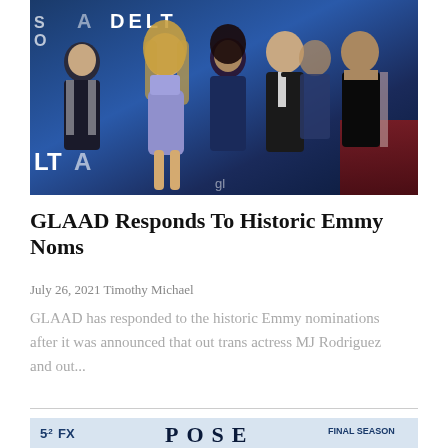[Figure (photo): Group photo of several people at a GLAAD/Delta event, standing in front of a blue DELTA branded backdrop. A woman in a lavender/purple mini dress is central, surrounded by others in formal and semi-formal attire.]
GLAAD Responds To Historic Emmy Noms
July 26, 2021 Timothy Michael
GLAAD has responded to the historic Emmy nominations after it was announced that out trans actress MJ Rodriguez and out...
[Figure (photo): Promotional banner for POSE on FX, showing '5.2 FX' on the left, 'POSE' in large letters in the center, and 'FINAL SEASON' on the right, on a light blue background.]